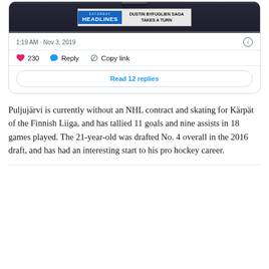[Figure (screenshot): Tweet card showing a TV screenshot with 'Saturday Headlines' banner reading 'Dustin Byfuglien Saga Takes a Turn', timestamp 1:19 AM · Nov 3, 2019, with 230 likes, Reply, Copy link actions, and Read 12 replies button]
Puljujärvi is currently without an NHL contract and skating for Kärpät of the Finnish Liiga, and has tallied 11 goals and nine assists in 18 games played. The 21-year-old was drafted No. 4 overall in the 2016 draft, and has had an interesting start to his pro hockey career.